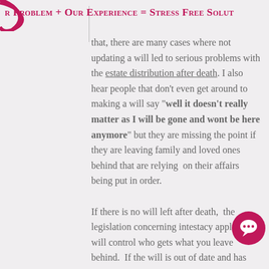r Problem + Our Experience = Stress Free Solut
that, there are many cases where not updating a will led to serious problems with the estate distribution after death.  I also hear people that don't even get around to making a will say "well it doesn't really matter as I will be gone and wont be here anymore" but they are missing the point if they are leaving family and loved ones behind that are relying  on their affairs being put in order.

If there is no will left after death,  the legislation concerning intestacy applies and will control who gets what you leave behind.  If the will is out of date and has failed to provide for a new partner then the new